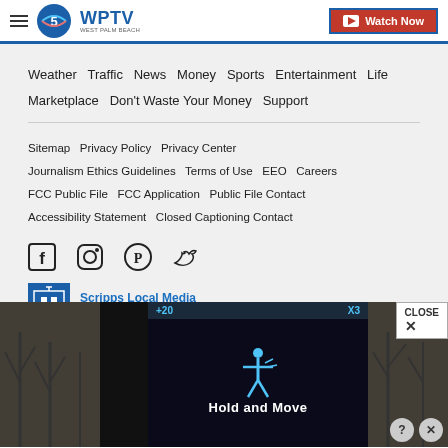WPTV West Palm Beach — Watch Now
Weather  Traffic  News  Money  Sports  Entertainment  Life  Marketplace  Don't Waste Your Money  Support
Sitemap  Privacy Policy  Privacy Center  Journalism Ethics Guidelines  Terms of Use  EEO  Careers  FCC Public File  FCC Application  Public File Contact  Accessibility Statement  Closed Captioning Contact
[Figure (illustration): Social media icons: Facebook, Instagram, Pinterest, Twitter]
Scripps Local Media
© 2022 Scripps Media, Inc
[Figure (photo): Advertisement overlay showing 'Hold and Move' app/game with winter outdoor background. Close button visible.]